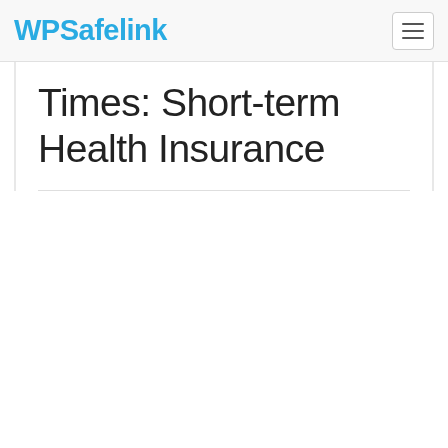WPSafelink
Times: Short-term Health Insurance